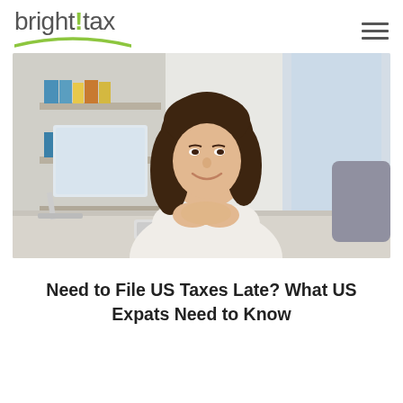bright!tax
[Figure (photo): A smiling woman with long brown hair wearing a white top, sitting at a desk with a computer monitor and keyboard, with bookshelves in the background.]
Need to File US Taxes Late? What US Expats Need to Know